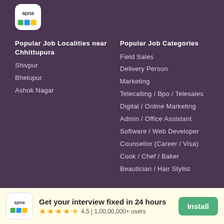[Figure (logo): Apna app logo - white rounded square with colorful stripe graphic and 'apna' text]
Popular Job Localities near Chhittupura
Shivpur
Bhelupur
Ashok Nagar
Popular Job Categories
Field Sales
Delivery Person
Marketing
Telecalling / Bpo / Telesales
Digital / Online Marketing
Admin / Office Assistant
Software / Web Developer
Counsellor (Career / Visa)
Cook / Chef / Baker
Beautician / Hair Stylist
Popular Job Companies in Varanasi
Get your interview fixed in 24 hours  4.5 | 1,00,00,000+ users  Install